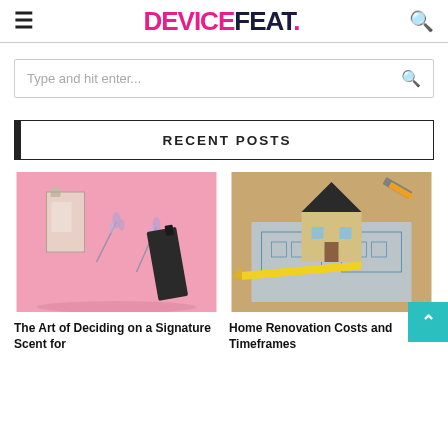DEVICEFEAT.
Type and hit enter...
RECENT POSTS
[Figure (photo): Perfume bottles and lavender flowers on a pink background]
The Art of Deciding on a Signature Scent for
[Figure (photo): Miniature house model on architectural blueprints with tools]
Home Renovation Costs and Timeframes